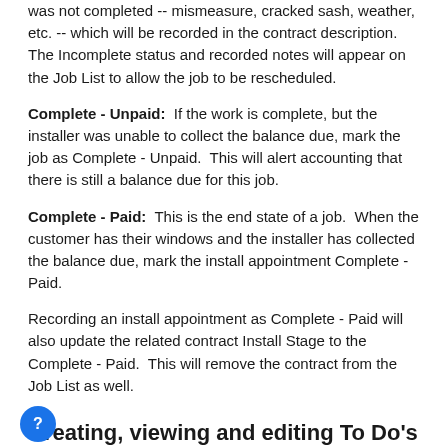was not completed -- mismeasure, cracked sash, weather, etc. -- which will be recorded in the contract description. The Incomplete status and recorded notes will appear on the Job List to allow the job to be rescheduled.
Complete - Unpaid: If the work is complete, but the installer was unable to collect the balance due, mark the job as Complete - Unpaid. This will alert accounting that there is still a balance due for this job.
Complete - Paid: This is the end state of a job. When the customer has their windows and the installer has collected the balance due, mark the install appointment Complete - Paid.
Recording an install appointment as Complete - Paid will also update the related contract Install Stage to the Complete - Paid. This will remove the contract from the Job List as well.
Creating, viewing and editing To Do's